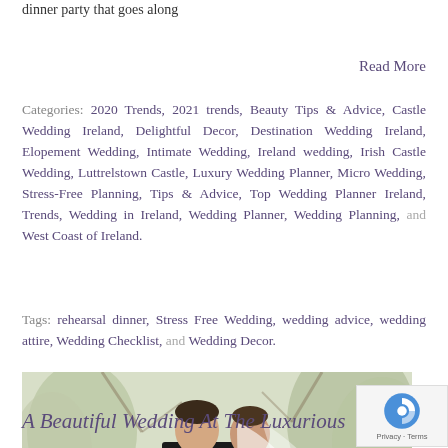dinner party that goes along
Read More
Categories: 2020 Trends, 2021 trends, Beauty Tips & Advice, Castle Wedding Ireland, Delightful Decor, Destination Wedding Ireland, Elopement Wedding, Intimate Wedding, Ireland wedding, Irish Castle Wedding, Luttrelstown Castle, Luxury Wedding Planner, Micro Wedding, Stress-Free Planning, Tips & Advice, Top Wedding Planner Ireland, Trends, Wedding in Ireland, Wedding Planner, Wedding Planning, and West Coast of Ireland.
Tags: rehearsal dinner, Stress Free Wedding, wedding advice, wedding attire, Wedding Checklist, and Wedding Decor.
[Figure (photo): A bride and groom standing close together outdoors in front of trees, the bride wearing a white lace dress with a long veil and holding a bouquet, the groom in a black tuxedo]
A Beautiful Wedding At The Luxurious